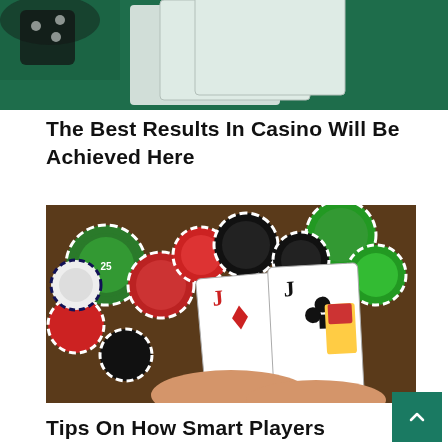[Figure (photo): Casino table with playing cards and dice on green felt surface, top portion visible]
The Best Results In Casino Will Be Achieved Here
[Figure (photo): Colorful casino chips (green, red, black) with two Jack playing cards (Jack of diamonds and Jack of clubs) held in hand]
Tips On How Smart Players Survive The